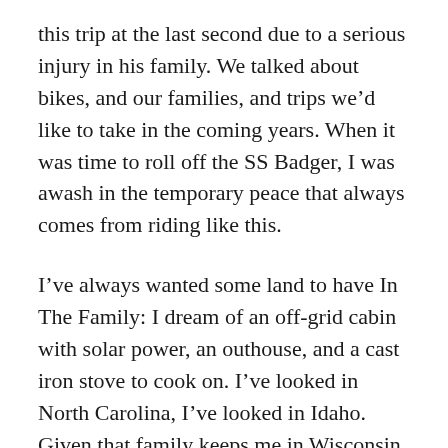this trip at the last second due to a serious injury in his family. We talked about bikes, and our families, and trips we’d like to take in the coming years. When it was time to roll off the SS Badger, I was awash in the temporary peace that always comes from riding like this.
I’ve always wanted some land to have In The Family: I dream of an off-grid cabin with solar power, an outhouse, and a cast iron stove to cook on. I’ve looked in North Carolina, I’ve looked in Idaho. Given that family keeps me in Wisconsin and I’m not rich, the UP of Michigan makes a lot more sense. The wild, gorgeous, remote North Woods have really got me thinking.